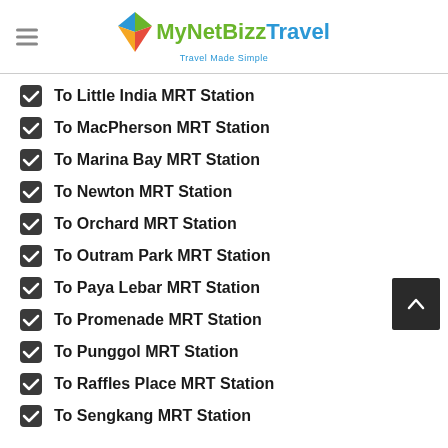[Figure (logo): MyNetBizz Travel logo with colorful kite icon and tagline 'Travel Made Simple']
To Little India MRT Station
To MacPherson MRT Station
To Marina Bay MRT Station
To Newton MRT Station
To Orchard MRT Station
To Outram Park MRT Station
To Paya Lebar MRT Station
To Promenade MRT Station
To Punggol MRT Station
To Raffles Place MRT Station
To Sengkang MRT Station